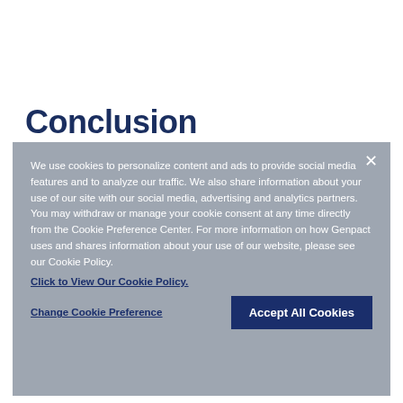Conclusion
We use cookies to personalize content and ads to provide social media features and to analyze our traffic. We also share information about your use of our site with our social media, advertising and analytics partners. You may withdraw or manage your cookie consent at any time directly from the Cookie Preference Center. For more information on how Genpact uses and shares information about your use of our website, please see our Cookie Policy.
Click to View Our Cookie Policy.
Change Cookie Preference
Accept All Cookies